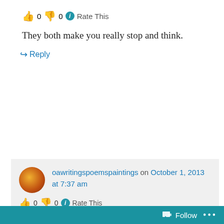👍 0 👎 0 ℹ Rate This
They both make you really stop and think.
↪ Reply
oawritingspoemspaintings on October 1, 2013 at 7:37 am
👍 0 👎 0 ℹ Rate This
Thanks! That's what it did to me. I
Privacy & Cookies: This site uses cookies. By continuing to use this website, you agree to their use. To find out more, including how to control cookies, see here: Cookie Policy
Close and accept
Follow